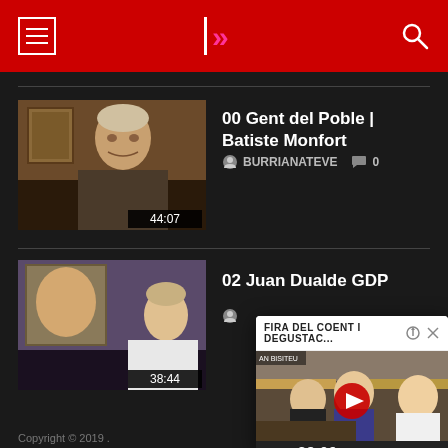[Figure (screenshot): Website header with red background, hamburger menu icon, logo with pink double-chevron arrows, and search icon]
[Figure (screenshot): Video thumbnail of elderly man, duration 44:07]
00 Gent del Poble | Batiste Monfort
BURRIANATEVE   0
[Figure (screenshot): Video thumbnail of man near painting, duration 38:44]
02 Juan Dualde GDP
[Figure (screenshot): Popup video player showing FIRA DEL COENT I DEGUSTAC... with people at a food fair, play button, time -28:09]
Copyright © 2019 .